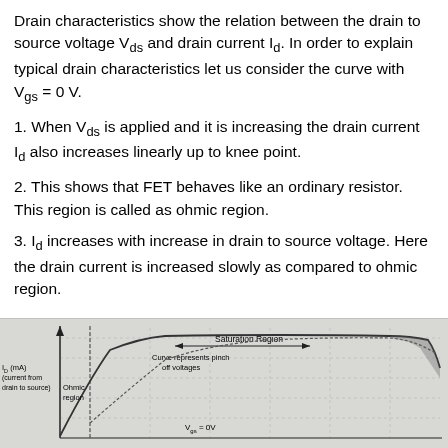Drain characteristics show the relation between the drain to source voltage Vds and drain current Id. In order to explain typical drain characteristics let us consider the curve with Vgs = 0 V.
1. When Vds is applied and it is increasing the drain current Id also increases linearly up to knee point.
2. This shows that FET behaves like an ordinary resistor. This region is called as ohmic region.
3. Id increases with increase in drain to source voltage. Here the drain current is increased slowly as compared to ohmic region.
[Figure (continuous-plot): Drain characteristics graph of a FET. Y-axis labeled ID (mA) current from drain to source. Left region labeled Ohmic region. Arrow spanning middle area labeled Saturation Region. Curve represents pinch off voltages labeled. Bottom curve labeled Vgs = 0V.]